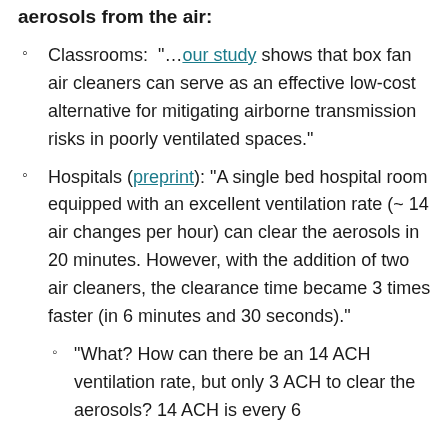aerosols from the air:
Classrooms: "...our study shows that box fan air cleaners can serve as an effective low-cost alternative for mitigating airborne transmission risks in poorly ventilated spaces."
Hospitals (preprint): "A single bed hospital room equipped with an excellent ventilation rate (~ 14 air changes per hour) can clear the aerosols in 20 minutes. However, with the addition of two air cleaners, the clearance time became 3 times faster (in 6 minutes and 30 seconds)."
"What? How can there be an 14 ACH ventilation rate, but only 3 ACH to clear the aerosols? 14 ACH is every 6..."